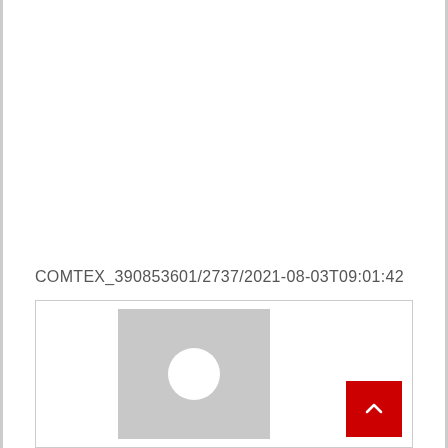COMTEX_390853601/2737/2021-08-03T09:01:42
[Figure (photo): User avatar placeholder image (gray square with white circle in center) inside a bordered box, with a red scroll-to-top button in the bottom-right corner]